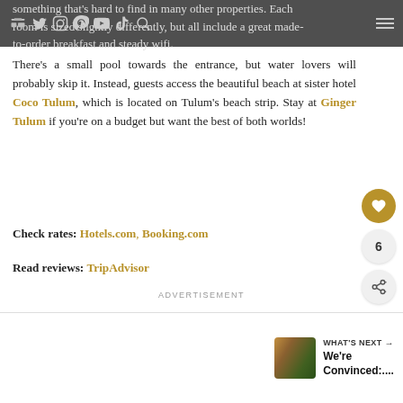something that's hard to find in many other properties. Each room is sized slightly differently, but all include a great made-to-order breakfast and steady wifi.
There's a small pool towards the entrance, but water lovers will probably skip it. Instead, guests access the beautiful beach at sister hotel Coco Tulum, which is located on Tulum's beach strip. Stay at Ginger Tulum if you're on a budget but want the best of both worlds!
Check rates: Hotels.com, Booking.com
Read reviews: TripAdvisor
ADVERTISEMENT
WHAT'S NEXT → We're Convinced:....